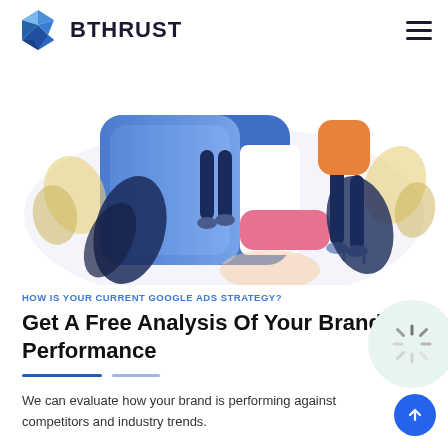BTHRUST
[Figure (illustration): Colorful illustration showing two people walking around large smartphone/tablet devices with decorative leaves and plants in the background on a light background.]
HOW IS YOUR CURRENT GOOGLE ADS STRATEGY?
Get A Free Analysis Of Your Brand Performance
We can evaluate how your brand is performing against competitors and industry trends.